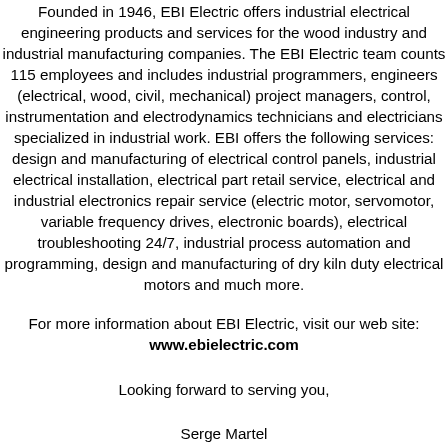Founded in 1946, EBI Electric offers industrial electrical engineering products and services for the wood industry and industrial manufacturing companies. The EBI Electric team counts 115 employees and includes industrial programmers, engineers (electrical, wood, civil, mechanical) project managers, control, instrumentation and electrodynamics technicians and electricians specialized in industrial work. EBI offers the following services: design and manufacturing of electrical control panels, industrial electrical installation, electrical part retail service, electrical and industrial electronics repair service (electric motor, servomotor, variable frequency drives, electronic boards), electrical troubleshooting 24/7, industrial process automation and programming, design and manufacturing of dry kiln duty electrical motors and much more.
For more information about EBI Electric, visit our web site: www.ebielectric.com
Looking forward to serving you,
Serge Martel
President
EBI Electric